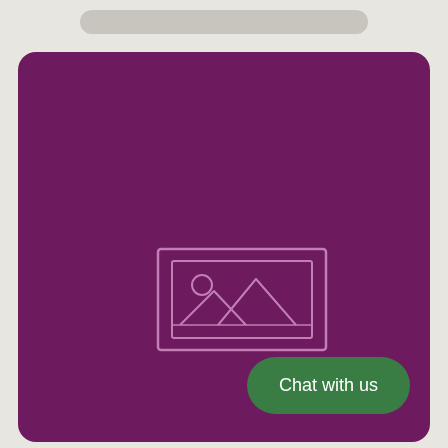[Figure (illustration): A purple rounded-rectangle card with a centered image placeholder icon (outline of a landscape with mountains and sun), and a green 'Chat with us' button in the bottom-right corner. A gray pill-shaped bar appears at the top of the page (mobile UI chrome).]